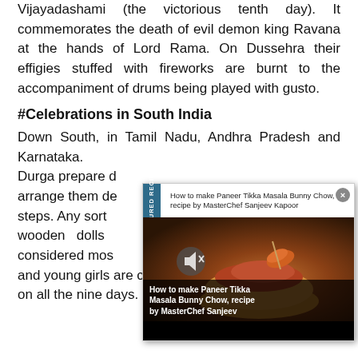Vijayadashami (the victorious tenth day). It commemorates the death of evil demon king Ravana at the hands of Lord Rama. On Dussehra their effigies stuffed with fireworks are burnt to the accompaniment of drums being played with gusto.
#Celebrations in South India
Down South, in Tamil Nadu, Andhra Pradesh and Karnataka. Durga prepare arrange them de steps. Any sort wooden dolls considered mos and young girls are called for haldi kumkum on all the nine days. Each day a different
[Figure (screenshot): Popup overlay showing a featured recipe: 'How to make Paneer Tikka Masala Bunny Chow, recipe by MasterChef Sanjeev Kapoor' with a food photo and FEATURED RECIPES sidebar tab. Close button (x) in top right.]